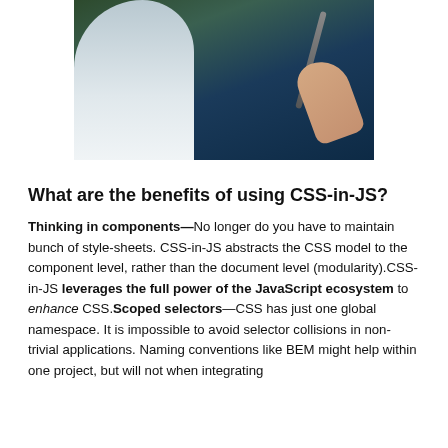[Figure (photo): A man seen from behind/side, holding what appears to be a stylus or stick, with a dark outdoor/water background]
What are the benefits of using CSS-in-JS?
Thinking in components— No longer do you have to maintain bunch of style-sheets. CSS-in-JS abstracts the CSS model to the component level, rather than the document level (modularity).CSS-in-JS leverages the full power of the JavaScript ecosystem to enhance CSS.Scoped selectors— CSS has just one global namespace. It is impossible to avoid selector collisions in non-trivial applications. Naming conventions like BEM might help within one project, but will not when integrating